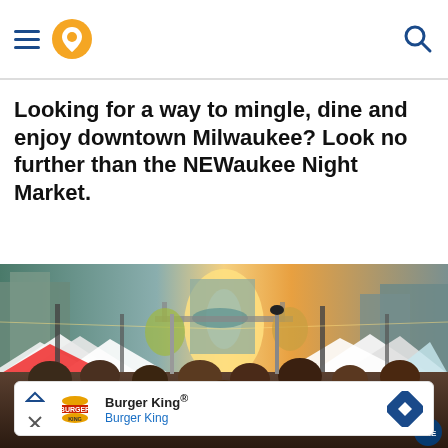Navigation header with hamburger menu, location pin icon, and search icon
Looking for a way to mingle, dine and enjoy downtown Milwaukee? Look no further than the NEWaukee Night Market.
[Figure (photo): Outdoor night market scene on a downtown Milwaukee street. Crowded street with white vendor tents on both sides, string lights overhead, golden sunset glow in background, city buildings visible, autumn trees.]
[Figure (screenshot): Burger King advertisement banner showing Burger King logo, text 'Burger King® Burger King', navigation arrow icon on right, close/arrow buttons on left.]